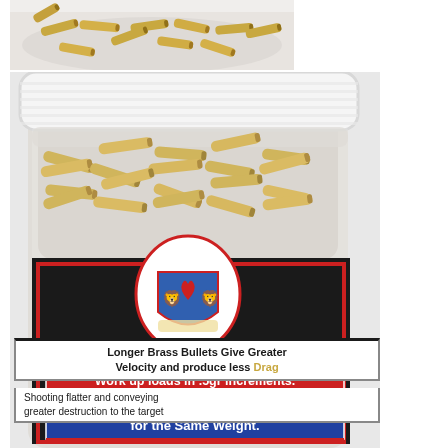[Figure (photo): Close-up of brass bullet casings in a white plastic container lid, viewed from above. Golden/brass colored cylindrical casings scattered in a white tray.]
[Figure (photo): A clear plastic jar filled with brass bullet casings, with a black product label. The label features a heraldic shield logo with two lions, and text reading: 'Always start 10% less, powder, Work up loads in .5gr increments.' A blue banner reads 'Brass Makes Bullets Longer for the Same Weight.' White text below reads 'Longer Brass Bullets Give Greater Velocity and produce less Drag'. Bottom text: 'Shooting flatter and conveying greater destruction to the target']